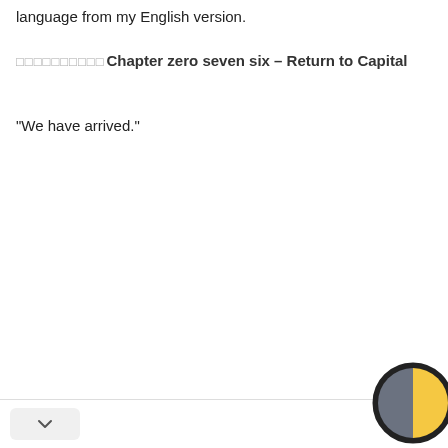language from my English version.
□□□□□□□□□□Chapter zero seven six – Return to Capital
“We have arrived.”
[Figure (illustration): Half moon / half sun circular icon — left half dark grey, right half golden yellow, with a thick dark border circle, partially cropped at page bottom-right corner.]
[Figure (other): A small rounded rectangle button with a downward chevron arrow, positioned at bottom-left.]